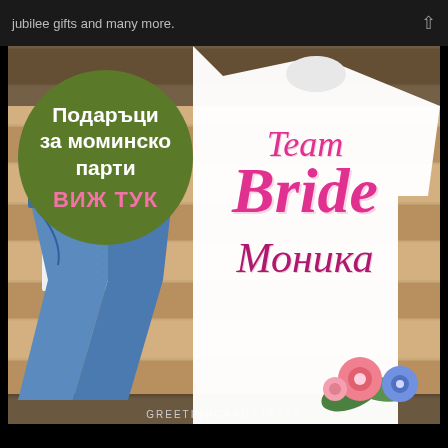jubilee gifts and many more.
[Figure (photo): Promotional image showing a white t-shirt with 'Team Bride Моника' printed in pink script, laid on a wooden surface alongside a white gift box with pink ribbon and blue jeans. A green circle overlay contains Bulgarian text 'Подаръци за моминско парти' and 'ВИЖ ТУК' in pink.]
Подаръци за моминско парти
ВИЖ ТУК
GREETINGCARDSTEXTS